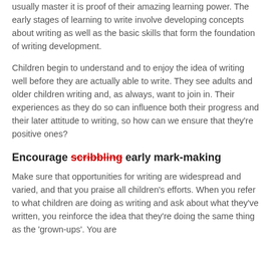usually master it is proof of their amazing learning power. The early stages of learning to write involve developing concepts about writing as well as the basic skills that form the foundation of writing development.
Children begin to understand and to enjoy the idea of writing well before they are actually able to write. They see adults and older children writing and, as always, want to join in. Their experiences as they do so can influence both their progress and their later attitude to writing, so how can we ensure that they're positive ones?
Encourage scribbling early mark-making
Make sure that opportunities for writing are widespread and varied, and that you praise all children's efforts. When you refer to what children are doing as writing and ask about what they've written, you reinforce the idea that they're doing the same thing as the 'grown-ups'. You are